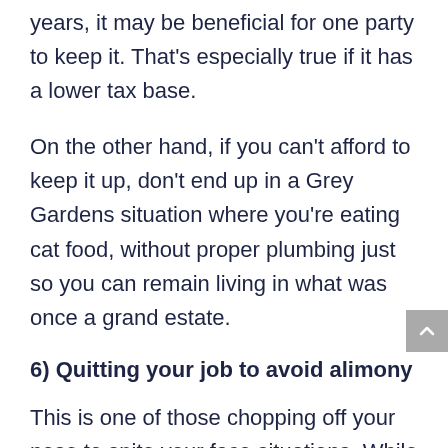years, it may be beneficial for one party to keep it. That's especially true if it has a lower tax base.
On the other hand, if you can't afford to keep it up, don't end up in a Grey Gardens situation where you're eating cat food, without proper plumbing just so you can remain living in what was once a grand estate.
6) Quitting your job to avoid alimony
This is one of those chopping off your nose to spite your face situations. While it may seem like a great idea, all it will mean is more time in